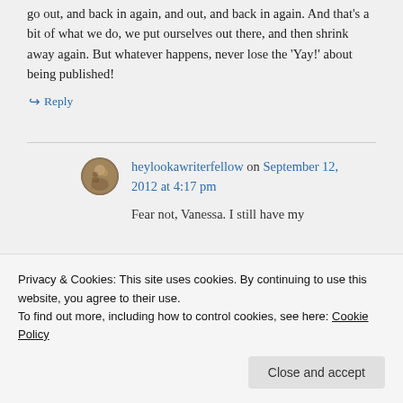go out, and back in again, and out, and back in again. And that’s a bit of what we do, we put ourselves out there, and then shrink away again. But whatever happens, never lose the ‘Yay!’ about being published!
↪ Reply
heylookawriterfellow on September 12, 2012 at 4:17 pm
Fear not, Vanessa. I still have my
Privacy & Cookies: This site uses cookies. By continuing to use this website, you agree to their use.
To find out more, including how to control cookies, see here: Cookie Policy
Close and accept